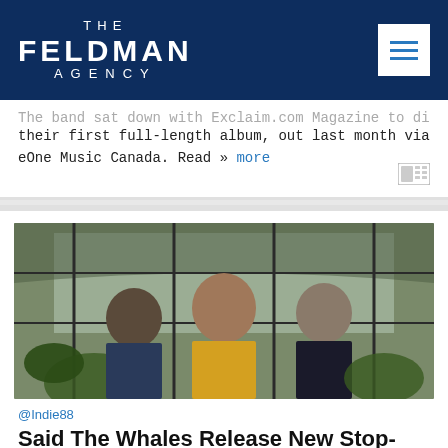THE FELDMAN AGENCY
The band sat down with Exclaim.com Magazine to discuss their first full-length album, out last month via eOne Music Canada. Read » more
[Figure (photo): Three band members (two men and a woman in yellow dress) standing inside a greenhouse with plants and glass panels]
@Indie88
Said The Whales Release New Stop-